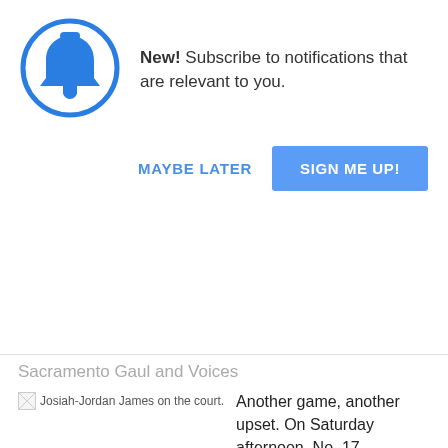[Figure (screenshot): Notification popup with a blue bell icon in a circle, text reading 'New! Subscribe to notifications that are relevant to you.', and two buttons: 'MAYBE LATER' in blue text and 'SIGN ME UP!' in a blue filled button.]
Sacramento Gaul and Voices
[Figure (photo): Broken image placeholder with alt text 'Josiah-Jordan James on the court.']
Another game, another upset. On Saturday afternoon, No. 17 Tennessee defeated No. 3 Auburn by a final score of 67-62. Auburn freshman Jabari Smith played well, scoring 27 points in a hostile environment. However, it wasn't enough to overcome Tennessee's